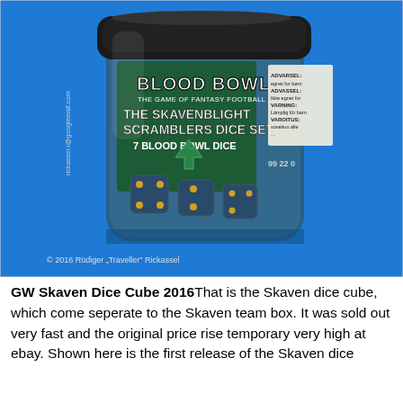[Figure (photo): Photo of Blood Bowl The Skavenblight Scramblers Dice Set – a clear plastic cube container with a black lid, containing 7 Blood Bowl dice. The label reads 'BLOOD BOWL THE GAME OF FANTASY FOOTBALL – THE SKAVENBLIGHT SCRAMBLERS DICE SET 7 BLOOD BOWL DICE'. A warning label is visible on the right side. The background is bright blue. Copyright 2016 Rüdiger 'Traveller' Rickassel.]
GW Skaven Dice Cube 2016That is the Skaven dice cube, which come seperate to the Skaven team box. It was sold out very fast and the original price rise temporary very high at ebay. Shown here is the first release of the Skaven dice